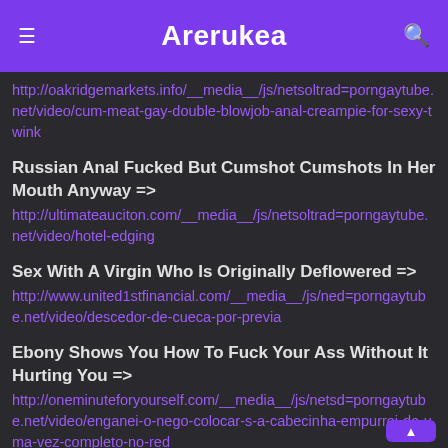Arerukea
http://oakridgemarkets.info/__media__/js/netsoltrad=porngaytube.net/video/cum-meat-gay-double-blowjob-anal-creampie-for-sexy-twink
Russian Anal Fucked But Cumshot Cumshots In Her Mouth Anyway => http://ultimateauciton.com/__media__/js/netsoltrad=porngaytube.net/video/hotel-edging
Sex With A Virgin Who Is Originally Deflowered => http://www.united1stfinancial.com/__media__/js/ned=porngaytube.net/video/descedor-de-cueca-por-previa
Ebony Shows You How To Fuck Your Ass Without It Hurting You => http://oneminuteforyourself.com/__media__/js/netsd=porngaytube.net/video/enganei-o-nego-colocar-s-a-cabecinha-empurrei-de-uma-vez-completo-no-red